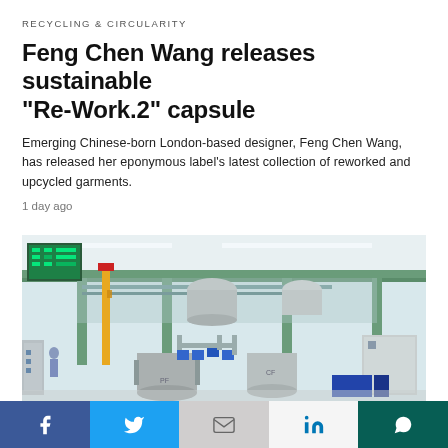RECYCLING & CIRCULARITY
Feng Chen Wang releases sustainable “Re-Work.2” capsule
Emerging Chinese-born London-based designer, Feng Chen Wang, has released her eponymous label’s latest collection of reworked and upcycled garments.
1 day ago
[Figure (photo): Industrial chemical processing or recycling plant interior showing large stainless steel tanks, green metal frame structure, blue pumps, control panels, pipes and machinery in a factory setting.]